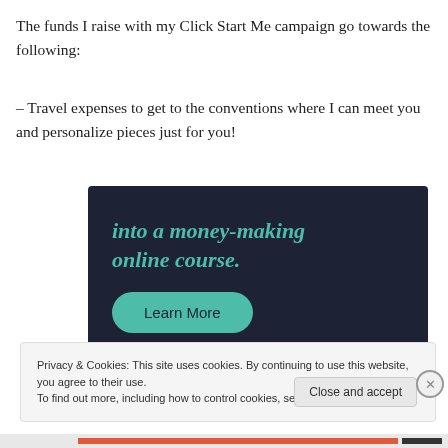The funds I raise with my Click Start Me campaign go towards the following:
– Travel expenses to get to the conventions where I can meet you and personalize pieces just for you!
[Figure (screenshot): Dark navy advertisement banner with teal italic text reading 'into a money-making online course.' and a teal rounded 'Learn More' button below.]
Privacy & Cookies: This site uses cookies. By continuing to use this website, you agree to their use.
To find out more, including how to control cookies, see here: Cookie Policy
Close and accept